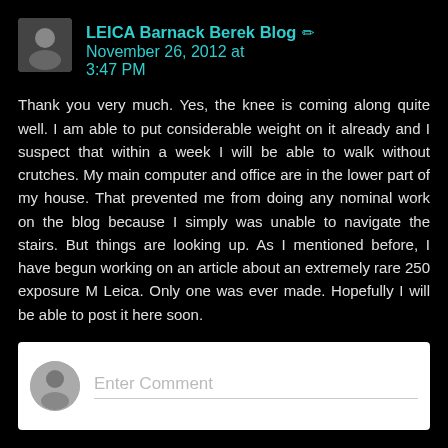LEICA Barnack Berek Blog / November 26, 2012 at 3:47 PM
Thank you very much. Yes, the knee is coming along quite well. I am able to put considerable weight on it already and I suspect that within a week I will be able to walk without crutches. My main computer and office are in the lower part of my house. That prevented me from doing any nominal work on the blog because I simply was unable to navigate the stairs. But things are looking up. As I mentioned before, I have begun working on an article about an extremely rare 250 exposure M Leica. Only one was ever made. Hopefully I will be able to post it here soon.
Reply